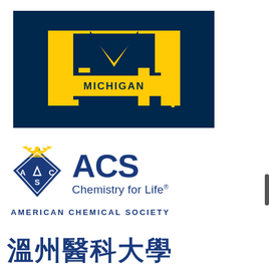[Figure (logo): University of Michigan Block M logo on dark navy blue background with gold M and MICHIGAN wordmark]
[Figure (logo): American Chemical Society (ACS) logo: gold eagle and blue diamond shield with A C S letters, alongside text ACS Chemistry for Life® and AMERICAN CHEMICAL SOCIETY]
溫州醫科大學 (Wenzhou Medical University — partial, cropped)